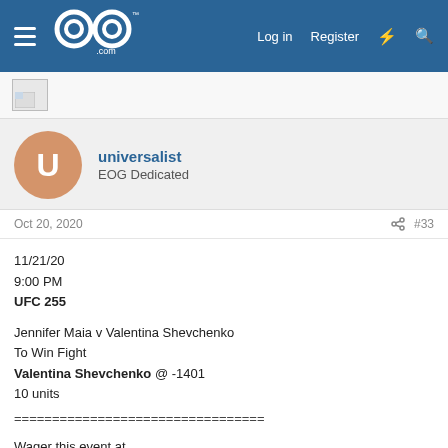EOG.com navigation bar with logo, Log in, Register
[Figure (logo): EOG.com logo on blue navigation bar]
[Figure (photo): Broken image placeholder in ad bar]
universalist
EOG Dedicated
Oct 20, 2020  #33
11/21/20
9:00 PM
UFC 255

Jennifer Maia v Valentina Shevchenko
To Win Fight
Valentina Shevchenko @ -1401
10 units
================================

Wager this event at
https://link.intertops.eu/c/394279